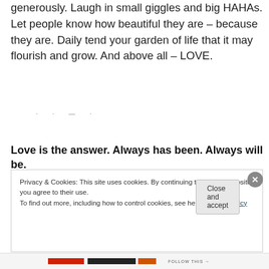generously. Laugh in small giggles and big HAHAs. Let people know how beautiful they are – because they are. Daily tend your garden of life that it may flourish and grow. And above all – LOVE.
· · · — ·
Love is the answer. Always has been. Always will be.
Privacy & Cookies: This site uses cookies. By continuing to use this website, you agree to their use.
To find out more, including how to control cookies, see here: Cookie Policy
Close and accept